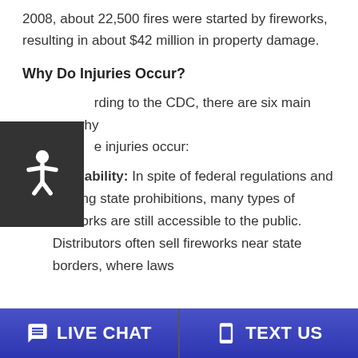2008, about 22,500 fires were started by fireworks, resulting in about $42 million in property damage.
Why Do Injuries Occur?
According to the CDC, there are six main reasons why these injuries occur:
Availability: In spite of federal regulations and varying state prohibitions, many types of fireworks are still accessible to the public. Distributors often sell fireworks near state borders, where laws